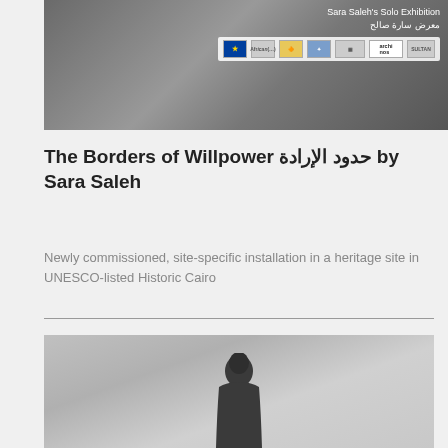[Figure (photo): Black and white photograph of Sara Saleh's solo exhibition banner showing inflated sculptural forms, with exhibition title in English and Arabic, EU logo, and sponsor logos including archinós and others]
The Borders of Willpower حدود الإرادة by Sara Saleh
Newly commissioned, site-specific installation in a heritage site in UNESCO-listed Historic Cairo
[Figure (photo): Black and white photograph of a dark sculptural figure with hooded form, seen from behind, against a light grey background]